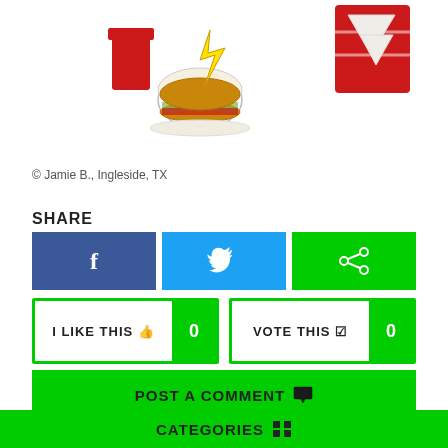[Figure (illustration): Cartoon drawing of a burger character with red fries cup on left, and a red striped cup/container on right, hand-drawn style with colored pencil]
© Jamie B., Ingleside, TX
SHARE
[Figure (infographic): Social share buttons: Facebook (blue), Twitter (cyan), Share (green)]
[Figure (infographic): I LIKE THIS button with count 0, and VOTE THIS button with count 0, both with green borders]
POST A COMMENT
CATEGORIES